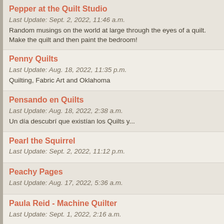Pepper at the Quilt Studio
Last Update: Sept. 2, 2022, 11:46 a.m.
Random musings on the world at large through the eyes of a quilt. Make the quilt and then paint the bedroom!
Penny Quilts
Last Update: Aug. 18, 2022, 11:35 p.m.
Quilting, Fabric Art and Oklahoma
Pensando en Quilts
Last Update: Aug. 18, 2022, 2:38 a.m.
Un día descubrí que existían los Quilts y...
Pearl the Squirrel
Last Update: Sept. 2, 2022, 11:12 p.m.
Peachy Pages
Last Update: Aug. 17, 2022, 5:36 a.m.
Paula Reid - Machine Quilter
Last Update: Sept. 1, 2022, 2:16 a.m.
Pattsart
Last Update: Aug. 18, 2022, 5:54 p.m.
Patterns by Jen
Last Update: Sept. 2, 2022, 3:35 a.m.